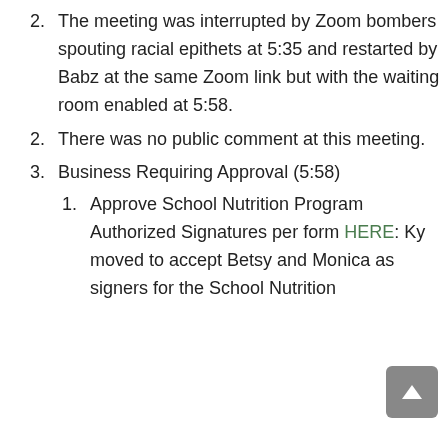2. The meeting was interrupted by Zoom bombers spouting racial epithets at 5:35 and restarted by Babz at the same Zoom link but with the waiting room enabled at 5:58.
2. There was no public comment at this meeting.
3. Business Requiring Approval (5:58)
1. Approve School Nutrition Program Authorized Signatures per form HERE: Ky moved to accept Betsy and Monica as signers for the School Nutrition